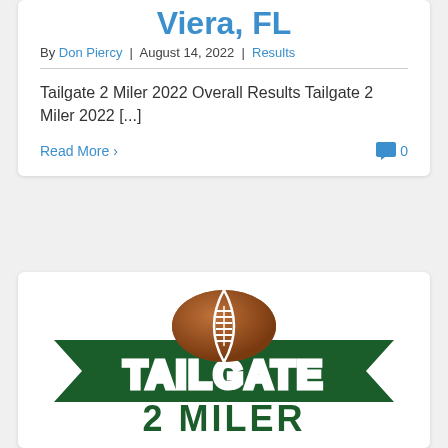Viera, FL
By Don Piercy | August 14, 2022 | Results
Tailgate 2 Miler 2022 Overall Results Tailgate 2 Miler 2022 [...]
Read More > 0
[Figure (logo): Tailgate 2 Miler logo with a football on top of a green banner reading TAILGATE and dark green text below reading 2 MILER]